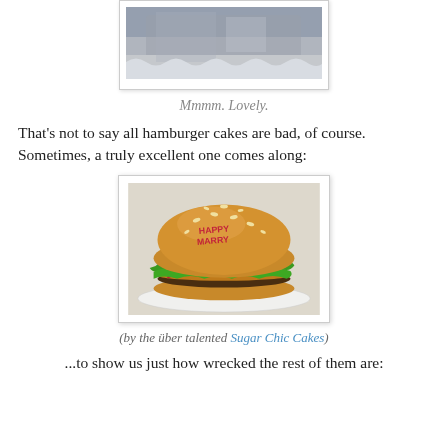[Figure (photo): Partial top view of a cake or dessert item in a container, shown cropped at top of page]
Mmmm. Lovely.
That's not to say all hamburger cakes are bad, of course. Sometimes, a truly excellent one comes along:
[Figure (photo): A highly realistic hamburger cake with sesame seed bun on top, red icing letters, green lettuce frosting, pink/red pepper decorations, brown patty, and orange cheese layer, on a white doily]
(by the über talented Sugar Chic Cakes)
...to show us just how wrecked the rest of them are: